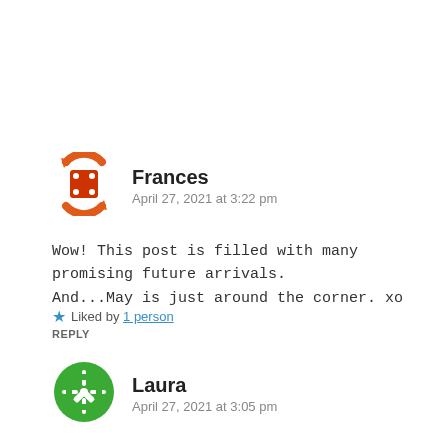[Figure (illustration): Red dice avatar icon with four dots, enclosed in a circular arrow motif, orange-red color scheme]
Frances
April 27, 2021 at 3:22 pm
Wow! This post is filled with many promising future arrivals. And...May is just around the corner. xo
★ Liked by 1 person
REPLY
[Figure (illustration): Green snowflake/flower pattern avatar icon in a circular shape, green color scheme]
Laura
April 27, 2021 at 3:05 pm